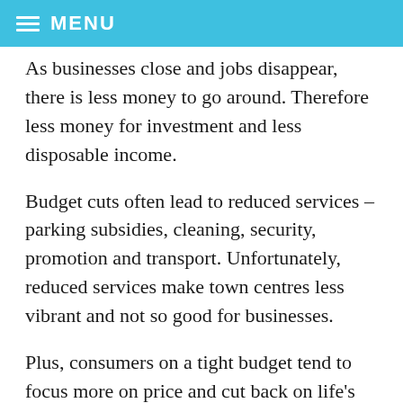MENU
As businesses close and jobs disappear, there is less money to go around. Therefore less money for investment and less disposable income.
Budget cuts often lead to reduced services – parking subsidies, cleaning, security, promotion and transport. Unfortunately, reduced services make town centres less vibrant and not so good for businesses.
Plus, consumers on a tight budget tend to focus more on price and cut back on life's luxuries.